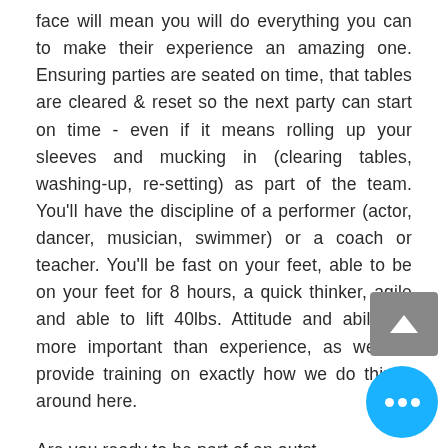face will mean you will do everything you can to make their experience an amazing one. Ensuring parties are seated on time, that tables are cleared & reset so the next party can start on time - even if it means rolling up your sleeves and mucking in (clearing tables, washing-up, re-setting) as part of the team. You'll have the discipline of a performer (actor, dancer, musician, swimmer) or a coach or teacher. You'll be fast on your feet, able to be on your feet for 8 hours, a quick thinker, agile and able to lift 40lbs. Attitude and ability is more important than experience, as we will provide training on exactly how we do things around here.
Are you ready to be part of an outstanding team culture that has pride in their work,